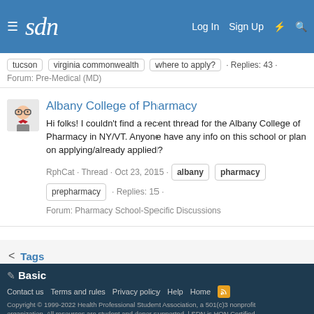SDN — Log In · Sign Up
tucson · virginia commonwealth · where to apply? · Replies: 43 · Forum: Pre-Medical (MD)
Albany College of Pharmacy
Hi folks! I couldn't find a recent thread for the Albany College of Pharmacy in NY/VT. Anyone have any info on this school or plan on applying/already applied?
RphCat · Thread · Oct 23, 2015 · albany · pharmacy · prepharmacy · Replies: 15 · Forum: Pharmacy School-Specific Discussions
< Tags
✏ Basic
Contact us · Terms and rules · Privacy policy · Help · Home · Copyright © 1999-2022 Health Professional Student Association, a 501(c)3 nonprofit organization. All resources are student and donor supported. | SDN is HON Certified